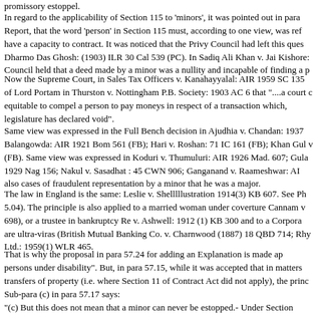promissory estoppel.
In regard to the applicability of Section 115 to 'minors', it was pointed out in para... Report, that the word 'person' in Section 115 must, according to one view, was ref... have a capacity to contract. It was noticed that the Privy Council had left this quest... Dharmo Das Ghosh: (1903) ILR 30 Cal 539 (PC). In Sadiq Ali Khan v. Jai Kishore:... Council held that a deed made by a minor was a nullity and incapable of finding a p...
Now the Supreme Court, in Sales Tax Officers v. Kanahayyalal: AIR 1959 SC 135... of Lord Portam in Thurston v. Nottingham P.B. Society: 1903 AC 6 that "....a court c... equitable to compel a person to pay moneys in respect of a transaction which,... legislature has declared void".
Same view was expressed in the Full Bench decision in Ajudhia v. Chandan: 1937... Balangowda: AIR 1921 Bom 561 (FB); Hari v. Roshan: 71 IC 161 (FB); Khan Gul v... (FB). Same view was expressed in Koduri v. Thumuluri: AIR 1926 Mad. 607; Gula... 1929 Nag 156; Nakul v. Sasadhat : 45 CWN 906; Ganganand v. Raameshwar: AI... also cases of fraudulent representation by a minor that he was a major.
The law in England is the same: Leslie v. Shelllllustration 1914(3) KB 607. See Ph... 5.04). The principle is also applied to a married woman under coverture Cannam v... 698), or a trustee in bankruptcy Re v. Ashwell: 1912 (1) KB 300 and to a Corpora... are ultra-viras (British Mutual Banking Co. v. Charnwood (1887) 18 QBD 714; Rhy... Ltd.: 1959(1) WLR 465.
That is why the proposal in para 57.24 for adding an Explanation is made ap... persons under disability". But, in para 57.15, while it was accepted that in matters... transfers of property (i.e. where Section 11 of Contract Act did not apply), the princ... Sub-para (c) in para 57.17 says:
"(c) But this does not mean that a minor can never be estopped.- Under Section... between landlord and tenant), a minor can be estopped. This is because Section...